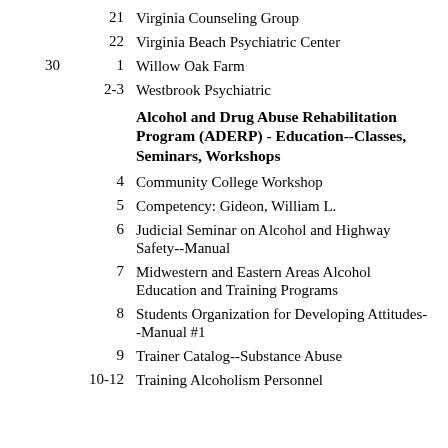21   Virginia Counseling Group
22   Virginia Beach Psychiatric Center
30  1   Willow Oak Farm
2-3   Westbrook Psychiatric
Alcohol and Drug Abuse Rehabilitation Program (ADERP) - Education--Classes, Seminars, Workshops
4   Community College Workshop
5   Competency: Gideon, William L.
6   Judicial Seminar on Alcohol and Highway Safety--Manual
7   Midwestern and Eastern Areas Alcohol Education and Training Programs
8   Students Organization for Developing Attitudes--Manual #1
9   Trainer Catalog--Substance Abuse
10-12   Training Alcoholism Personnel